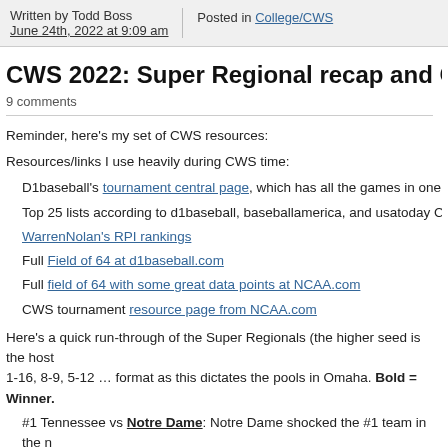Written by Todd Boss
June 24th, 2022 at 9:09 am | Posted in College/CWS
CWS 2022: Super Regional recap and CWS Pre…
9 comments
Reminder, here's my set of CWS resources:
Resources/links I use heavily during CWS time:
D1baseball's tournament central page, which has all the games in one pl…
Top 25 lists according to d1baseball, baseballamerica, and usatoday Coa…
WarrenNolan's RPI rankings
Full Field of 64 at d1baseball.com
Full field of 64 with some great data points at NCAA.com
CWS tournament resource page from NCAA.com
Here's a quick run-through of the Super Regionals (the higher seed is the host… 1-16, 8-9, 5-12 … format as this dictates the pools in Omaha. Bold = Winner.
#1 Tennessee vs Notre Dame: Notre Dame shocked the #1 team in the n… and holding on. Tennessee rebounded to blow out ND in game two 12-4 …